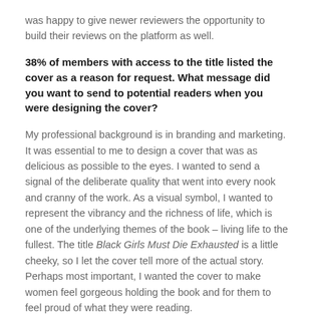was happy to give newer reviewers the opportunity to build their reviews on the platform as well.
38% of members with access to the title listed the cover as a reason for request. What message did you want to send to potential readers when you were designing the cover?
My professional background is in branding and marketing.  It was essential to me to design a cover that was as delicious as possible to the eyes. I wanted to send a signal of the deliberate quality that went into every nook and cranny of the work. As a visual symbol, I wanted to represent the vibrancy and the richness of life, which is one of the underlying themes of the book – living life to the fullest. The title Black Girls Must Die Exhausted is a little cheeky, so I let the cover tell more of the actual story. Perhaps most important, I wanted the cover to make women feel gorgeous holding the book and for them to feel proud of what they were reading.
46% of members with access said that the description was